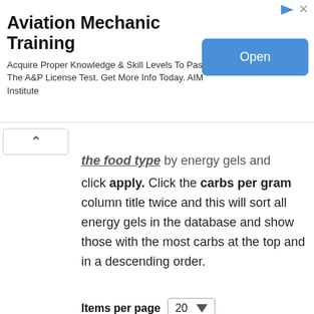[Figure (screenshot): Advertisement banner for Aviation Mechanic Training by AIM Institute with Open button]
the food type by energy gels and click apply. Click the carbs per gram column title twice and this will sort all energy gels in the database and show those with the most carbs at the top and in a descending order.
Items per page 20
[Figure (screenshot): Apply button (blue/teal)]
|  | Buy |
| --- | --- |
| 1 | Eload Apple Energy Gel |
| 2 | Muir Energy Blackberry And Thyme Energy Gel |